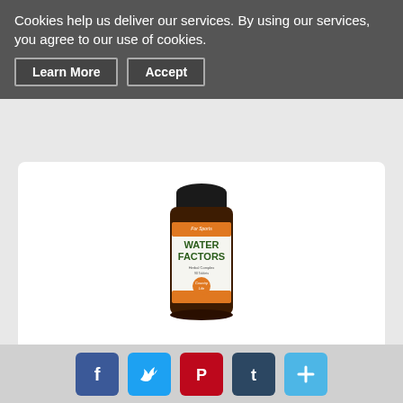Cookies help us deliver our services. By using our services, you agree to our use of cookies.
Learn More
Accept
[Figure (photo): Country Life Water Factors supplement bottle, amber glass with orange and white label]
Country Life Water Factors, 90-Count
only $19.42
View
Add to Cart
[Figure (infographic): Social media share buttons: Facebook, Twitter, Pinterest, Tumblr, and a plus/more button]